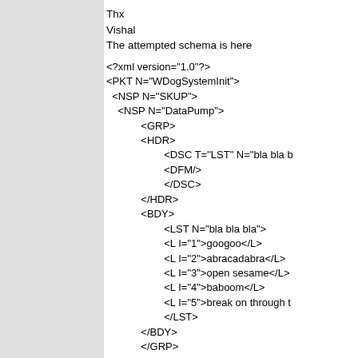Thx
Vishal
The attempted schema is here
<?xml version="1.0"?>
<PKT N="WDogSystemInit">
  <NSP N="SKUP">
    <NSP N="DataPump">
            <GRP>
            <HDR>
                    <DSC T="LST" N="bla bla b
                    <DFM/>
                    </DSC>
            </HDR>
            <BDY>
                    <LST N="bla bla bla">
                    <L I="1">googoo</L>
                    <L I="2">abracadabra</L>
                    <L I="3">open sesame</L>
                    <L I="4">baboom</L>
                    <L I="5">break on through t
                    </LST>
            </BDY>
            </GRP>
    </NSP> <!-- End of the data pump name